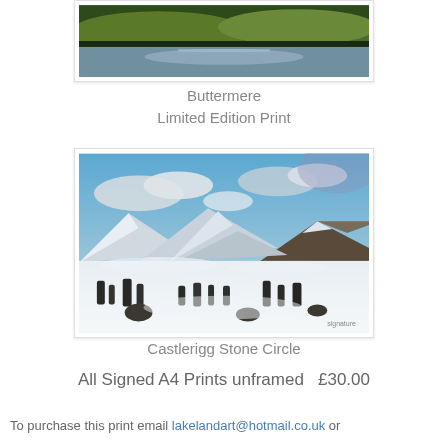[Figure (illustration): Painting of Buttermere lake with green hills and reflections on water]
Buttermere
Limited Edition Print
[Figure (illustration): Painting of Castlerigg Stone Circle in winter with snow-covered mountains and dramatic sky]
Castlerigg Stone Circle
All Signed A4 Prints unframed  £30.00
To purchase this print email lakelandart@hotmail.co.uk or